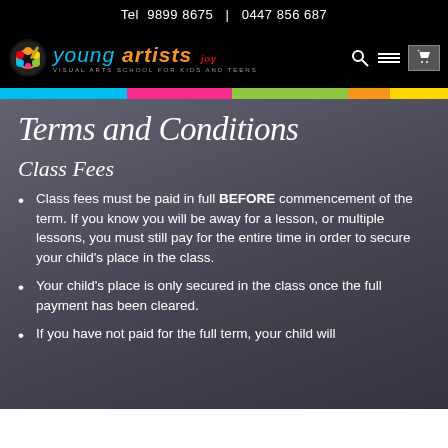Tel  9899 8675   |   0447 856 687
[Figure (logo): Young Artists visual arts school for kids and teens logo with colorful palette icon]
Terms and Conditions
Class Fees
Class fees must be paid in full BEFORE commencement of the term. If you know you will be away for a lesson, or multiple lessons, you must still pay for the entire time in order to secure your child's place in the class.
Your child's place is only secured in the class once the full payment has been cleared.
If you have not paid for the full term, your child will